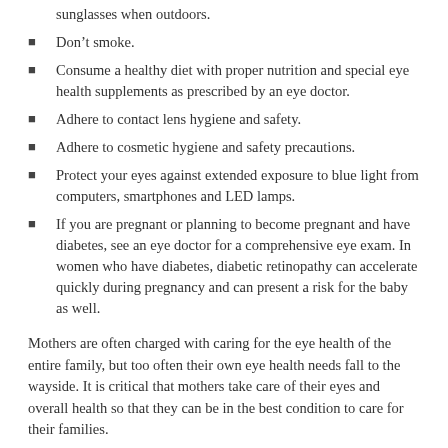sunglasses when outdoors.
Don’t smoke.
Consume a healthy diet with proper nutrition and special eye health supplements as prescribed by an eye doctor.
Adhere to contact lens hygiene and safety.
Adhere to cosmetic hygiene and safety precautions.
Protect your eyes against extended exposure to blue light from computers, smartphones and LED lamps.
If you are pregnant or planning to become pregnant and have diabetes, see an eye doctor for a comprehensive eye exam. In women who have diabetes, diabetic retinopathy can accelerate quickly during pregnancy and can present a risk for the baby as well.
Mothers are often charged with caring for the eye health of the entire family, but too often their own eye health needs fall to the wayside. It is critical that mothers take care of their eyes and overall health so that they can be in the best condition to care for their families.
Speak to your eye care professional about your personal eye health and vision risks and the precautions and measures you should take to protect